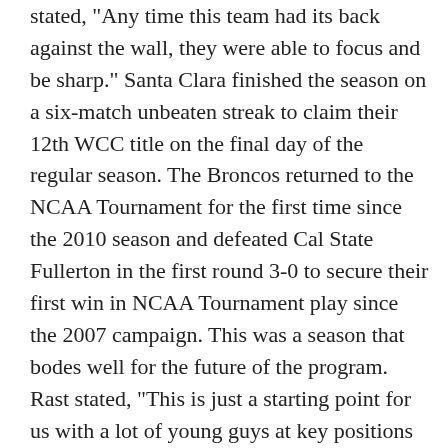stated, "Any time this team had its back against the wall, they were able to focus and be sharp." Santa Clara finished the season on a six-match unbeaten streak to claim their 12th WCC title on the final day of the regular season. The Broncos returned to the NCAA Tournament for the first time since the 2010 season and defeated Cal State Fullerton in the first round 3-0 to secure their first win in NCAA Tournament play since the 2007 campaign. This was a season that bodes well for the future of the program. Rast stated, "This is just a starting point for us with a lot of young guys at key positions coming back." He added, "Our senior five (Dylan Autran, Alfred Edmonds, Matt Escobar, Kendall McIntosh, Max Ornstil) were fantastic this year when it mattered most. A great credit to them for everything they gave to our program." Sophomore forward Delgadillo was named to the NSCAA All-Far West First Team and goalkeeper Kendall McIntosh was named to